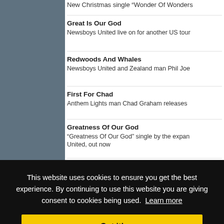New Christmas single "Wonder Of Wonders"
Great Is Our God
Newsboys United live on for another US tour
Redwoods And Whales
Newsboys United and Zealand man Phil Joe
First For Chad
Anthem Lights man Chad Graham releases
Greatness Of Our God
"Greatness Of Our God" single by the expan United, out now
Christian Music's Biggest Tour
for Winte
ners with
hen resum
This website uses cookies to ensure you get the best experience. By continuing to use this website you are giving consent to cookies being used. Learn more
Got it!
Seth & Nirva: The soul- antidote for troubled ti